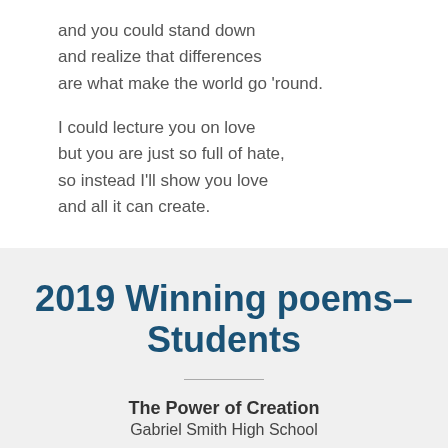and you could stand down
and realize that differences
are what make the world go 'round.

I could lecture you on love
but you are just so full of hate,
so instead I'll show you love
and all it can create.
2019 Winning poems– Students
The Power of Creation
Gabriel Smith High School